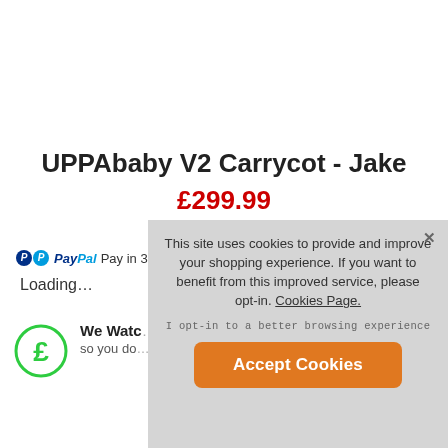UPPAbaby V2 Carrycot - Jake
£299.99
(Free Next Day Delivery)
PayPal Pay in 3 i...
Loading...
We Watc... so you do...
[Figure (screenshot): Cookie consent overlay with message: This site uses cookies to provide and improve your shopping experience. If you want to benefit from this improved service, please opt-in. Cookies Page. | I opt-in to a better browsing experience | Accept Cookies button]
This site uses cookies to provide and improve your shopping experience. If you want to benefit from this improved service, please opt-in. Cookies Page.
I opt-in to a better browsing experience
Accept Cookies